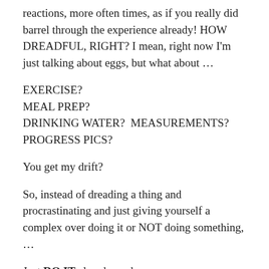reactions, more often times, as if you really did barrel through the experience already!  HOW DREADFUL, RIGHT?  I mean, right now I'm just talking about eggs, but what about …
EXERCISE?
MEAL PREP?
DRINKING WATER?  MEASUREMENTS?
PROGRESS PICS?
You get my drift?
So, instead of dreading a thing and procrastinating and just giving yourself a complex over doing it or NOT doing something, …
Just DO IT already, and see…
You may just like them, indeed! And it could open well…